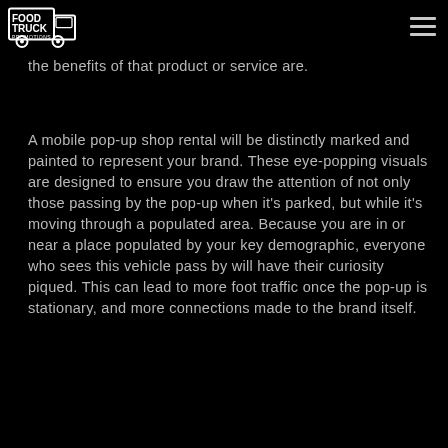Food Truck Promotions
the benefits of that product or service are.
A mobile pop-up shop rental will be distinctly marked and painted to represent your brand. These eye-popping visuals are designed to ensure you draw the attention of not only those passing by the pop-up when it's parked, but while it's moving through a populated area. Because you are in or near a place populated by your key demographic, everyone who sees this vehicle pass by will have their curiosity piqued. This can lead to more foot traffic once the pop-up is stationary, and more connections made to the brand itself.